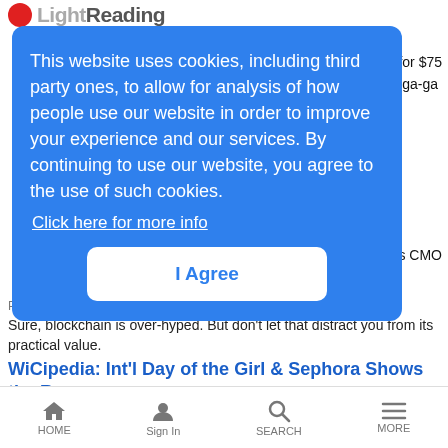Light Reading
t for $75
o ga-ga
This website uses cookies, including third party ones, to allow for analysis of how people use our website in order to improve your experience and our services. By continuing to use our website, you agree to the use of such cookies. Click here for more info
I Agree
s CMO
Pragher Bring | 10/13/2017
Sure, blockchain is over-hyped. But don't let that distract you from its practical value.
WiCipedia: Int'l Day of the Girl & Sephora Shows the Ropes
WiCipedia | 10/13/2017
HOME  Sign In  SEARCH  MORE